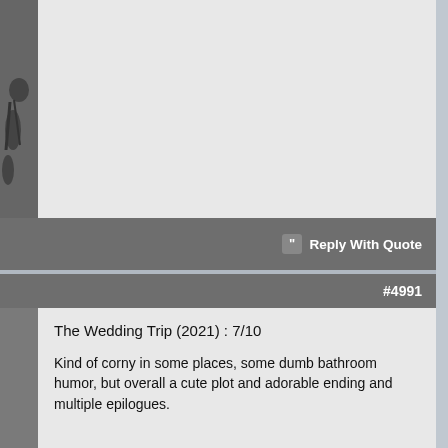[Figure (screenshot): Top portion of a forum post showing a light gray empty content area with a partial avatar image on the left sidebar]
Reply With Quote
#4991
The Wedding Trip (2021) : 7/10
Kind of corny in some places, some dumb bathroom humor, but overall a cute plot and adorable ending and multiple epilogues.